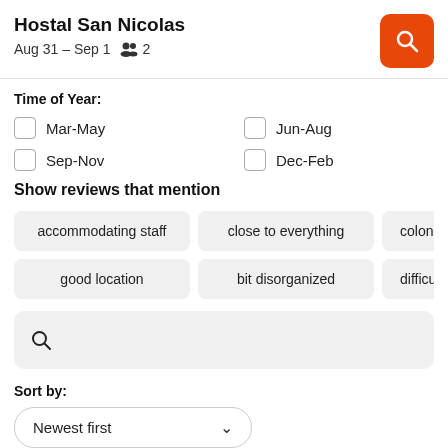Hostal San Nicolas
Aug 31 – Sep 1   👥 2
Time of Year:
Mar-May
Jun-Aug
Sep-Nov
Dec-Feb
Show reviews that mention
accommodating staff
close to everything
colonial hous
good location
bit disorganized
difficult to commu
Search bar
Sort by:
Newest first